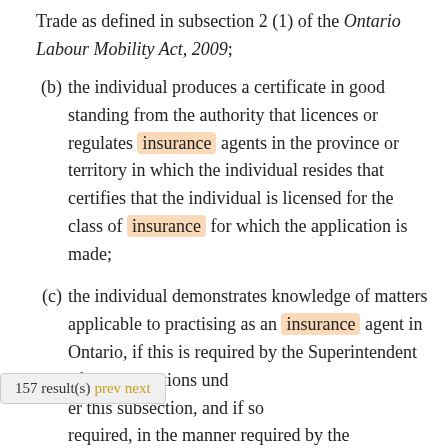Trade as defined in subsection 2 (1) of the Ontario Labour Mobility Act, 2009;
(b) the individual produces a certificate in good standing from the authority that licences or regulates insurance agents in the province or territory in which the individual resides that certifies that the individual is licensed for the class of insurance for which the application is made;
(c) the individual demonstrates knowledge of matters applicable to practising as an insurance agent in Ontario, if this is required by the Superintendent of all applications under this subsection, and if so required, in the manner required by the
157 result(s) prev next